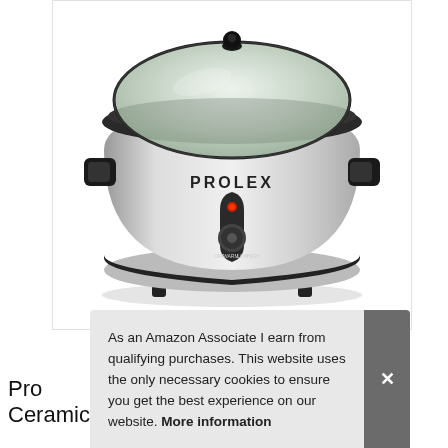[Figure (photo): A stainless steel PROLEX slow cooker with black handles, glass lid with black knob, and a front-mounted control knob labeled OFF, WARM, LOW, HIGH with a red indicator light.]
As an Amazon Associate I earn from qualifying purchases. This website uses the only necessary cookies to ensure you get the best experience on our website. More information
Pro Ceramic Pot, Stainless Steel